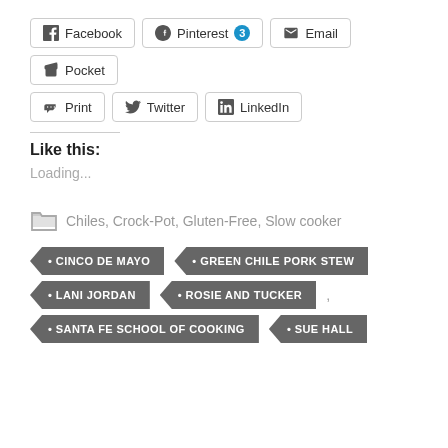Facebook | Pinterest 3 | Email | Pocket | Print | Twitter | LinkedIn
Like this:
Loading...
Chiles, Crock-Pot, Gluten-Free, Slow cooker
CINCO DE MAYO
GREEN CHILE PORK STEW
LANI JORDAN
ROSIE AND TUCKER
SANTA FE SCHOOL OF COOKING
SUE HALL